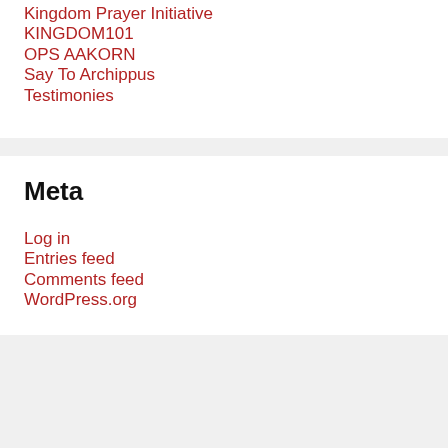Kingdom Prayer Initiative
KINGDOM101
OPS AAKORN
Say To Archippus
Testimonies
Meta
Log in
Entries feed
Comments feed
WordPress.org